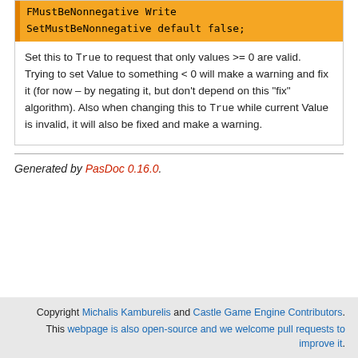FMustBeNonnegative Write
SetMustBeNonnegative default false;
Set this to True to request that only values >= 0 are valid. Trying to set Value to something < 0 will make a warning and fix it (for now – by negating it, but don't depend on this "fix" algorithm). Also when changing this to True while current Value is invalid, it will also be fixed and make a warning.
Generated by PasDoc 0.16.0.
Copyright Michalis Kamburelis and Castle Game Engine Contributors.
This webpage is also open-source and we welcome pull requests to improve it.